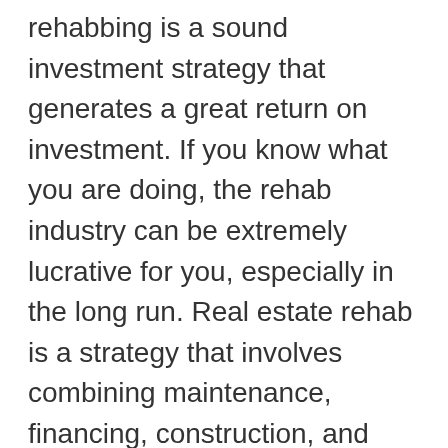rehabbing is a sound investment strategy that generates a great return on investment. If you know what you are doing, the rehab industry can be extremely lucrative for you, especially in the long run. Real estate rehab is a strategy that involves combining maintenance, financing, construction, and interior design…
Continue Reading →
VIERC
Distressed Property – What Is It And How To Find One?
If you're looking to invest your money in real